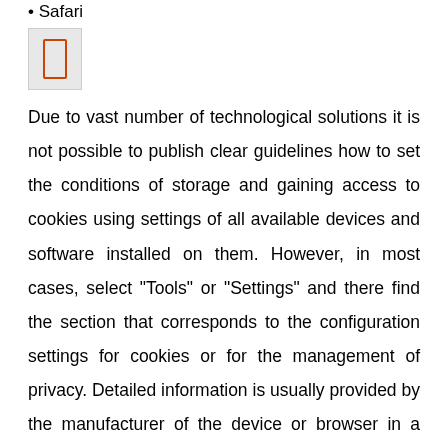Safari
[Figure (other): Small icon/image box with an orange-red outlined rectangle inside a grey background square]
Due to vast number of technological solutions it is not possible to publish clear guidelines how to set the conditions of storage and gaining access to cookies using settings of all available devices and software installed on them. However, in most cases, select "Tools" or "Settings" and there find the section that corresponds to the configuration settings for cookies or for the management of privacy. Detailed information is usually provided by the manufacturer of the device or browser in a manual or on their website.